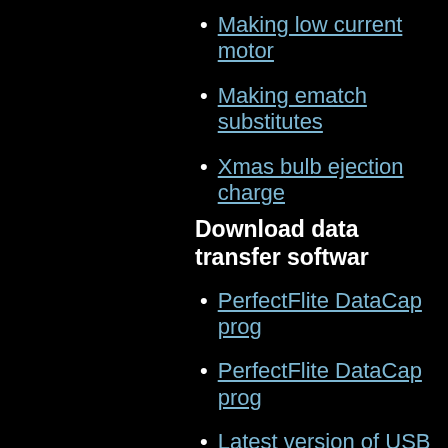Making low current motor
Making ematch substitutes
Xmas bulb ejection charge
Download data transfer softwar
PerfectFlite DataCap prog
PerfectFlite DataCap prog
Latest version of USB drivsion
Documents & Software for Legac
Download datasheets in .pdf for
Datasheet for miniAlt/WD
Datasheet for HiAlt45K alt
Datasheet for Alt15K/WD
Datasheet for microTimer2
Download documentation in .pdf